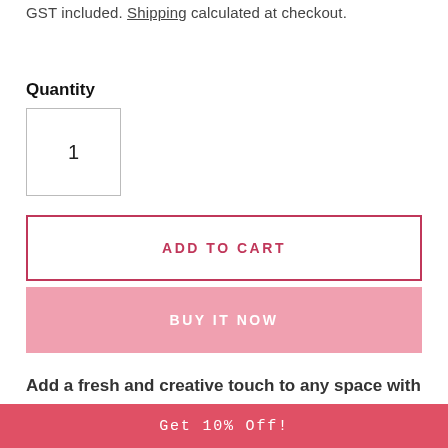GST included. Shipping calculated at checkout.
Quantity
1
ADD TO CART
BUY IT NOW
Add a fresh and creative touch to any space with our coconut hanging pots made from upcycled coconut shells.
Get 10% Off!